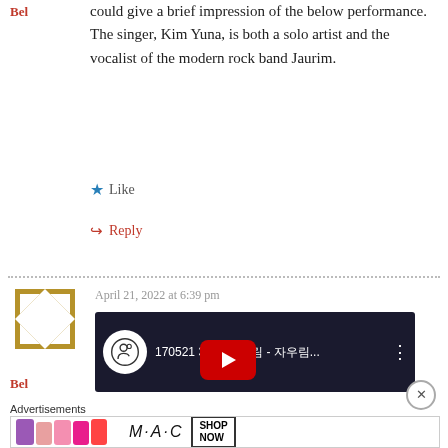Bel
could give a brief impression of the below performance. The singer, Kim Yuna, is both a solo artist and the vocalist of the modern rock band Jaurim.
★ Like
↪ Reply
Bel
April 21, 2022 at 6:39 pm
[Figure (screenshot): YouTube video thumbnail showing a concert with text '170521 30 [Korean characters] - [Korean characters]...' and a play button overlay]
[Figure (photo): Advertisement banner for MAC cosmetics showing lipsticks in pink, purple, coral colors with 'SHOP NOW' call to action]